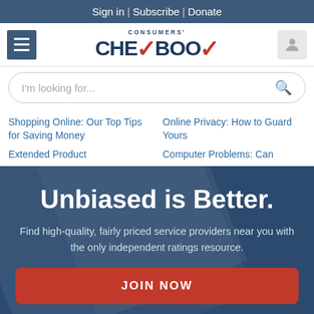Sign in | Subscribe | Donate
[Figure (logo): Consumers' Checkbook logo with red checkmark]
I'm looking for...
Shopping Online: Our Top Tips for Saving Money
Online Privacy: How to Guard Yours
Extended Product
Computer Problems: Can
Unbiased is Better.
Find high-quality, fairly priced service providers near you with the only independent ratings resource.
JOIN NOW
NO THANKS, MAYBE LATER.